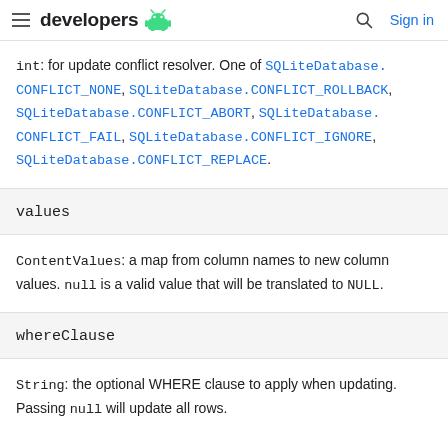≡ developers [android logo] 🔍 Sign in
int: for update conflict resolver. One of SQLiteDatabase.CONFLICT_NONE, SQLiteDatabase.CONFLICT_ROLLBACK, SQLiteDatabase.CONFLICT_ABORT, SQLiteDatabase.CONFLICT_FAIL, SQLiteDatabase.CONFLICT_IGNORE, SQLiteDatabase.CONFLICT_REPLACE.
values
ContentValues: a map from column names to new column values. null is a valid value that will be translated to NULL.
whereClause
String: the optional WHERE clause to apply when updating. Passing null will update all rows.